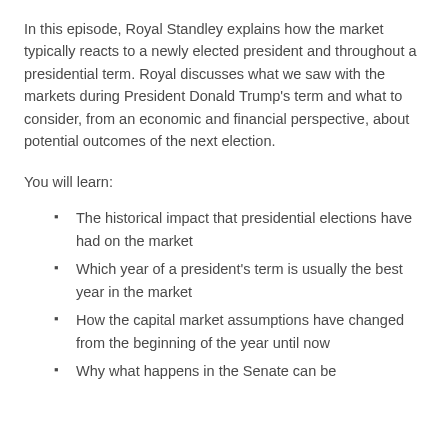In this episode, Royal Standley explains how the market typically reacts to a newly elected president and throughout a presidential term. Royal discusses what we saw with the markets during President Donald Trump's term and what to consider, from an economic and financial perspective, about potential outcomes of the next election.
You will learn:
The historical impact that presidential elections have had on the market
Which year of a president's term is usually the best year in the market
How the capital market assumptions have changed from the beginning of the year until now
Why what happens in the Senate can be